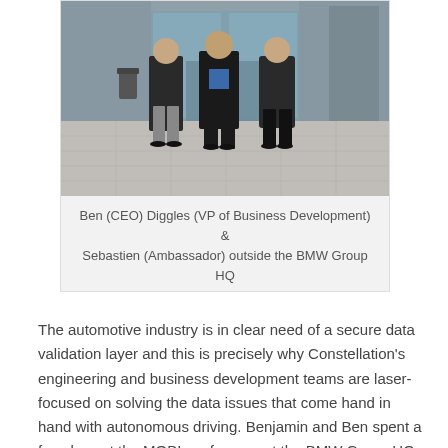[Figure (photo): Three men standing outside the BMW Group HQ building entrance. The man on the left wears a dark jacket and grey trousers, the man in the middle wears a dark jacket with a blue shirt, and the man on the right wears a dark puffer jacket and black trousers. They are standing on a stone plaza in front of large glass doors.]
Ben (CEO) Diggles (VP of Business Development) & Sebastien (Ambassador) outside the BMW Group HQ
The automotive industry is in clear need of a secure data validation layer and this is precisely why Constellation's engineering and business development teams are laser-focused on solving the data issues that come hand in hand with autonomous driving. Benjamin and Ben spent a few days at the MOBI conference at the BMW Group HQ discussing such issues with representatives from the manufacturing